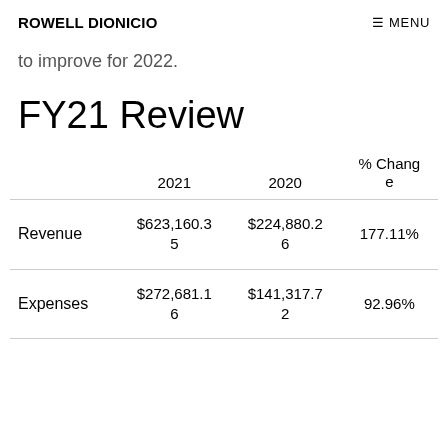ROWELL DIONICIO   ≡ MENU
to improve for 2022.
FY21 Review
|  | 2021 | 2020 | % Change |
| --- | --- | --- | --- |
| Revenue | $623,160.35 | $224,880.26 | 177.11% |
| Expenses | $272,681.16 | $141,317.72 | 92.96% |